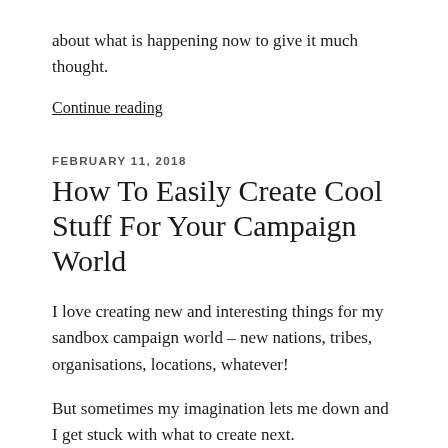about what is happening now to give it much thought.
Continue reading
FEBRUARY 11, 2018
How To Easily Create Cool Stuff For Your Campaign World
I love creating new and interesting things for my sandbox campaign world – new nations, tribes, organisations, locations, whatever!
But sometimes my imagination lets me down and I get stuck with what to create next.
When this happen I like to do one of my favourite things to shake me out of the mental/creative block – character